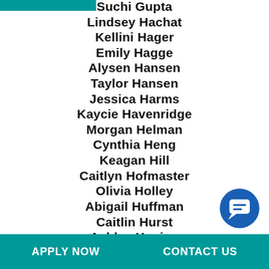Suchi Gupta
Lindsey Hachat
Kellini Hager
Emily Hagge
Alysen Hansen
Taylor Hansen
Jessica Harms
Kaycie Havenridge
Morgan Helman
Cynthia Heng
Keagan Hill
Caitlyn Hofmaster
Olivia Holley
Abigail Huffman
Caitlin Hurst
Ashley Husing
[Figure (logo): Blue circular chat/messaging button icon]
APPLY NOW    CONTACT US